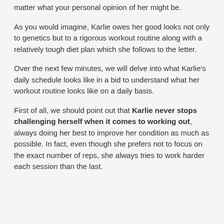matter what your personal opinion of her might be.
As you would imagine, Karlie owes her good looks not only to genetics but to a rigorous workout routine along with a relatively tough diet plan which she follows to the letter.
Over the next few minutes, we will delve into what Karlie's daily schedule looks like in a bid to understand what her workout routine looks like on a daily basis.
First of all, we should point out that Karlie never stops challenging herself when it comes to working out, always doing her best to improve her condition as much as possible. In fact, even though she prefers not to focus on the exact number of reps, she always tries to work harder each session than the last.